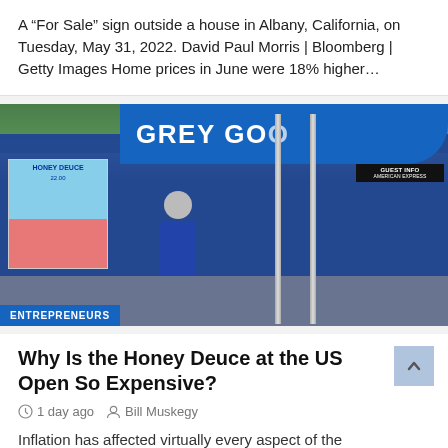A “For Sale” sign outside a house in Albany, California, on Tuesday, May 31, 2022. David Paul Morris | Bloomberg | Getty Images Home prices in June were 18% higher…
[Figure (photo): Photo of a Grey Goose branded pavilion or kiosk at the US Open tennis tournament. A man in a blue shirt and cap is in the foreground. A 'Honey Deuce' cocktail advertisement poster is visible on the left. An 'ENTREPRENEURS' label badge is overlaid at the bottom left.]
Why Is the Honey Deuce at the US Open So Expensive?
1 day ago   Bill Muskegy
Inflation has affected virtually every aspect of the